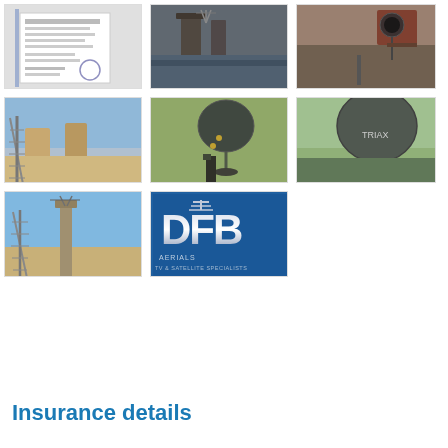[Figure (photo): Photo 1: Document/certificate on paper with official stamp and signatures]
[Figure (photo): Photo 2: Aerial/antenna on rooftop with chimney]
[Figure (photo): Photo 3: Satellite dish or cable equipment mounted on brick wall near roof]
[Figure (photo): Photo 4: Ladder leaning against building with chimney stacks visible]
[Figure (photo): Photo 5: Technician standing outdoors holding a large satellite dish]
[Figure (photo): Photo 6: Large satellite dish mounted outdoors on stand]
[Figure (photo): Photo 7: Ladder against tall chimney with TV aerial on top, sky in background]
[Figure (logo): DFB Aerials logo - TV & Satellite Specialists, blue metallic lettering]
Insurance details